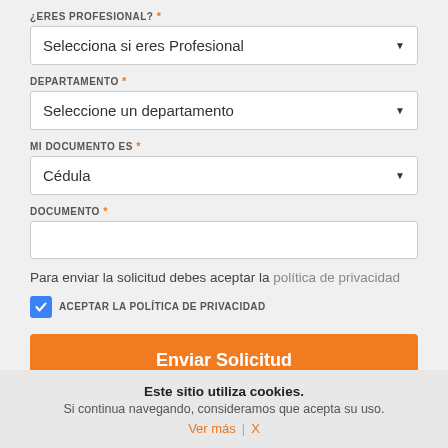¿ERES PROFESIONAL? *
Selecciona si eres Profesional
DEPARTAMENTO *
Seleccione un departamento
MI DOCUMENTO ES *
Cédula
DOCUMENTO *
Para enviar la solicitud debes aceptar la política de privacidad
ACEPTAR LA POLÍTICA DE PRIVACIDAD
Enviar Solicitud
Este sitio utiliza cookies. Si continua navegando, consideramos que acepta su uso. Ver más | X